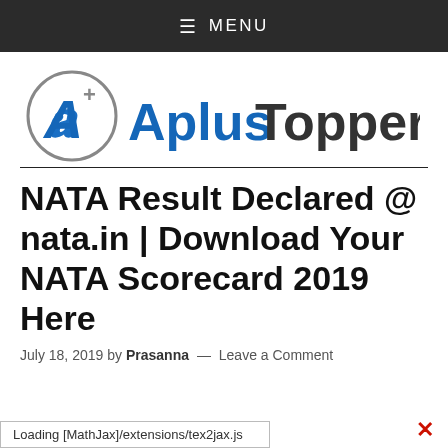≡  MENU
[Figure (logo): AplusTopper logo with stylized A+ in a circle followed by text 'AplusTopper' in blue and dark gray]
NATA Result Declared @ nata.in | Download Your NATA Scorecard 2019 Here
July 18, 2019 by Prasanna — Leave a Comment
Loading [MathJax]/extensions/tex2jax.js